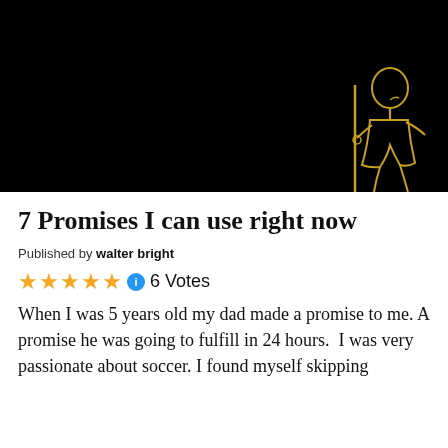[Figure (illustration): Black background image with a golden/yellow outline silhouette of a person holding a staff or stick, visible in the bottom-right corner of the image.]
7 Promises I can use right now
Published by walter bright
★★★★★ ℹ 6 Votes
When I was 5 years old my dad made a promise to me. A promise he was going to fulfill in 24 hours.  I was very passionate about soccer. I found myself skipping